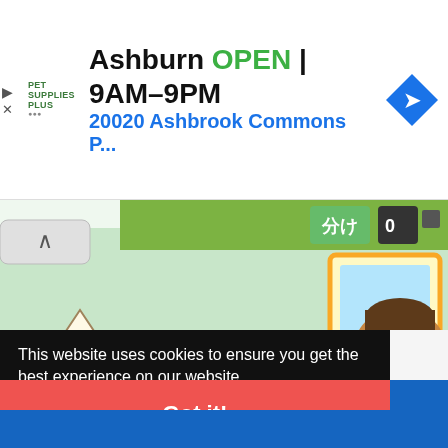[Figure (screenshot): Advertisement banner for Pet Supplies Plus in Ashburn showing OPEN 9AM-9PM and address 20020 Ashbrook Commons P... with a navigation arrow icon]
[Figure (screenshot): Japanese video game screenshot showing anime-style character with speech bubble containing Japanese text (vvv, そんなに カむなっては。) and a cartoon boy character on the right, with game UI at top]
This website uses cookies to ensure you get the best experience on our website.
Learn more
Got it!